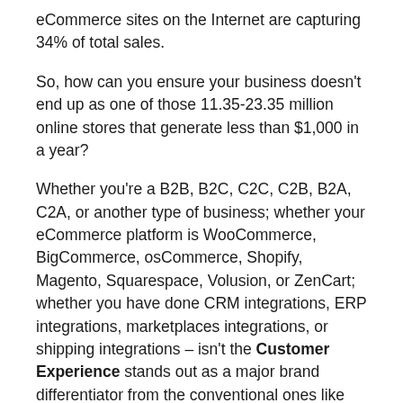eCommerce sites on the Internet are capturing 34% of total sales.
So, how can you ensure your business doesn't end up as one of those 11.35-23.35 million online stores that generate less than $1,000 in a year?
Whether you're a B2B, B2C, C2C, C2B, B2A, C2A, or another type of business; whether your eCommerce platform is WooCommerce, BigCommerce, osCommerce, Shopify, Magento, Squarespace, Volusion, or ZenCart; whether you have done CRM integrations, ERP integrations, marketplaces integrations, or shipping integrations – isn't the Customer Experience stands out as a major brand differentiator from the conventional ones like products and price?